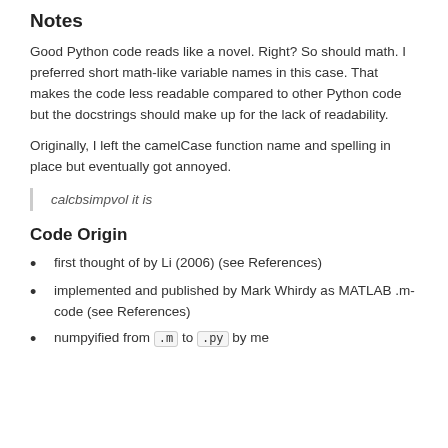Notes
Good Python code reads like a novel. Right? So should math. I preferred short math-like variable names in this case. That makes the code less readable compared to other Python code but the docstrings should make up for the lack of readability.
Originally, I left the camelCase function name and spelling in place but eventually got annoyed.
calcbsimpvol it is
Code Origin
first thought of by Li (2006) (see References)
implemented and published by Mark Whirdy as MATLAB .m-code (see References)
numpyified from .m to .py by me